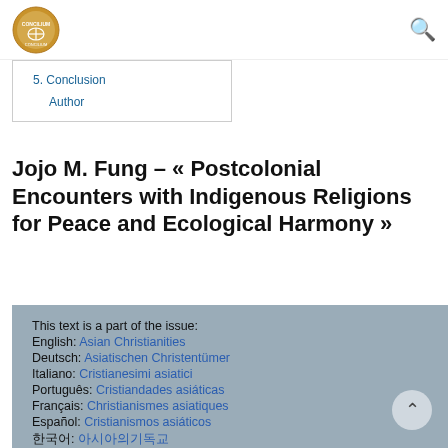Concilium logo and search icon
5. Conclusion
Author
Jojo M. Fung – « Postcolonial Encounters with Indigenous Religions for Peace and Ecological Harmony »
This text is a part of the issue:
English: Asian Christianities
Deutsch: Asiatischen Christentümer
Italiano: Cristianesimi asiatici
Português: Cristiandades asiáticas
Français: Christianismes asiatiques
Español: Cristianismos asiáticos
한국어: 아시아의기독교